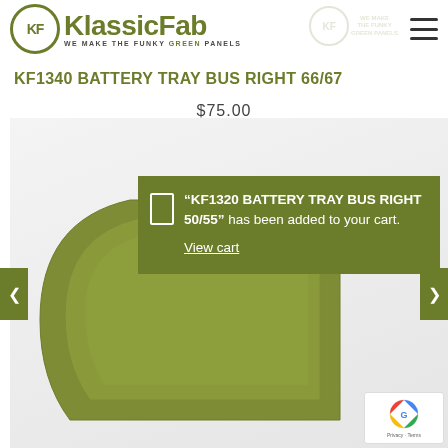[Figure (logo): KlassicFab logo with circle KF icon and green text, tagline WE MAKE THE FUNKY GREEN PANELS]
KF1340 BATTERY TRAY BUS RIGHT 66/67
$75.00
[Figure (photo): Green VW battery tray panel product photo on white/grey background]
“KF1320 BATTERY TRAY BUS RIGHT 50/55” has been added to your cart. View cart